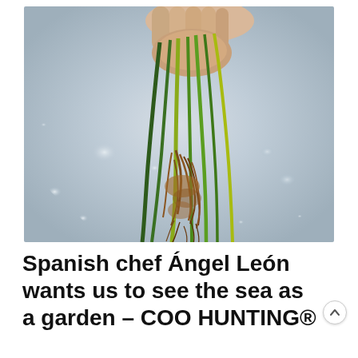[Figure (photo): A hand holding several seagrass or sea plant stems with roots dangling, photographed against a blurred shimmering water background.]
Spanish chef Ángel León wants us to see the sea as a garden – COC HUNTING®